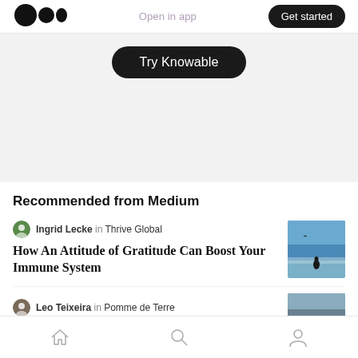[Figure (logo): Medium logo — two overlapping circles and an oval]
Open in app
Get started
Try Knowable
Recommended from Medium
Ingrid Lecke in Thrive Global
How An Attitude of Gratitude Can Boost Your Immune System
[Figure (photo): Thumbnail photo of a person sitting by water under a blue sky]
Leo Teixeira in Pomme de Terre
[Figure (photo): Partially visible thumbnail photo]
[Figure (infographic): Bottom navigation bar with home, search, and profile icons]